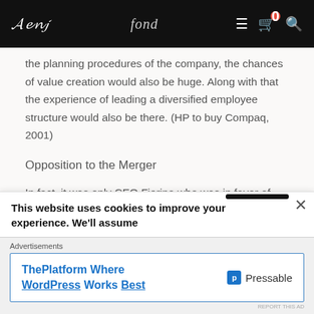Navigation bar with logo and icons
the planning procedures of the company, the chances of value creation would also be huge. Along with that the experience of leading a diversified employee structure would also be there. (HP to buy Compaq, 2001)
Opposition to the Merger
In fact, it was only CEO Fiorina who was in favor of going with the merger. This is a practical application of Agency problem that arises because of change in financial strategies of the company owners and the
This website uses cookies to improve your experience. We'll assume
[Figure (screenshot): Advertisement banner for ThePlatform Where WordPress Works Best by Pressable]